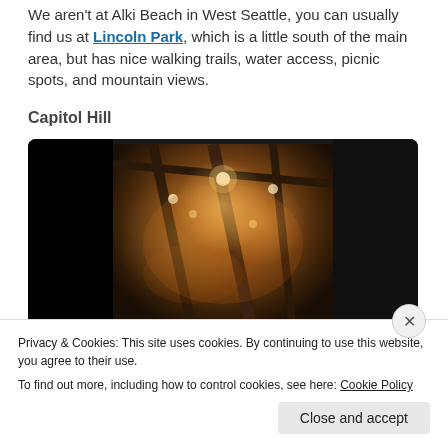We aren't at Alki Beach in West Seattle, you can usually find us at Lincoln Park, which is a little south of the main area, but has nice walking trails, water access, picnic spots, and mountain views.
Capitol Hill
[Figure (photo): Interior photo of a restaurant or bar with warm amber/orange lighting, exposed ceiling beams, industrial pendant lights, and wooden structural elements. The image is flanked by black bars on left and right (letterbox style).]
Privacy & Cookies: This site uses cookies. By continuing to use this website, you agree to their use.
To find out more, including how to control cookies, see here: Cookie Policy